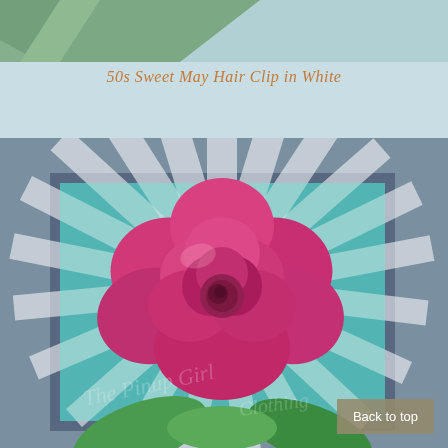[Figure (photo): Top portion of a photo showing green palm leaves against a light blue background]
50s Sweet May Hair Clip in White
[Figure (photo): A large hot pink/magenta rose hair clip displayed against a retro sunburst pattern background in teal and white, framed with a blue-grey border. A 'Back to top' button appears in the lower right corner.]